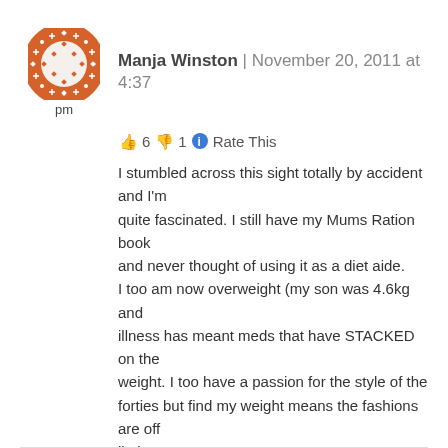[Figure (illustration): Circular avatar icon with orange/rust colored border featuring a geometric diamond/dot pattern, white interior with similar pattern. Label 'pm' below.]
Manja Winston | November 20, 2011 at 4:37 pm
👍 6 👎 1 ℹ Rate This
I stumbled across this sight totally by accident and I'm quite fascinated. I still have my Mums Ration book and never thought of using it as a diet aide.
I too am now overweight (my son was 4.6kg and illness has meant meds that have STACKED on the weight. I too have a passion for the style of the forties but find my weight means the fashions are off limits.
Best wishes to u. I wish u every success
Manja
★ Like
Reply